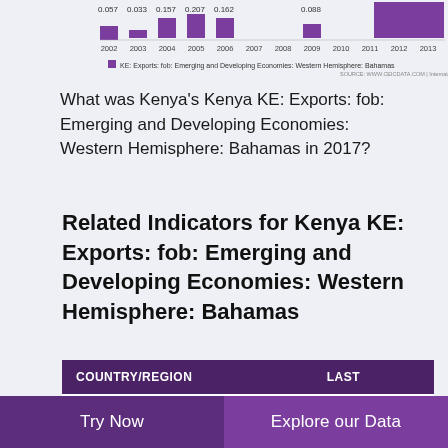[Figure (bar-chart): KE: Exports: fob: Emerging and Developing Economies: Western Hemisphere: Bahamas]
What was Kenya's Kenya KE: Exports: fob: Emerging and Developing Economies: Western Hemisphere: Bahamas in 2017?
Related Indicators for Kenya KE: Exports: fob: Emerging and Developing Economies: Western Hemisphere: Bahamas
| COUNTRY/REGION | LAST |
| --- | --- |
| Kenya KE: Exports: fob: Emerging and Developing Economies: Western Hemisphere: B... (USD... | ▼ 1.66
2017 |
Try Now    Explore our Data